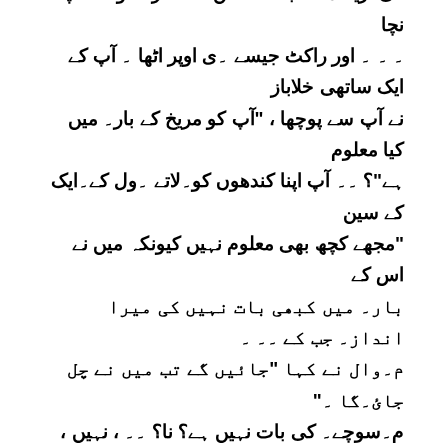ذرا تصور کریں کہ آپ سیار۔ مریخ پر پانچ سال۔ مشن کی تیاری کرنے والی ناسا کی ٹیم کا حصہ ۔یں۔ ۔اس سالوں کی ٹریننگ کے بعد ، مشن کے آغاز کا وقت آپ۔نچا ۔ ۔ ۔ اور راکٹ جیسے ۔ی اوپر اٹھا ۔ آپ کے ایک ساتھی خلاباز نے آپ سے پوچھا ، ''آپ کو مریخ کے بار۔ میں کیا معلوم ہے''؟ ۔۔ آپ اپنا کندھوں کو۔لاتے ۔ول کے۔ایک کے سین ۔ ''مجھے کچھ بھی معلوم نہیں کیونکہ میں نے اس کے بارے میں کبھی بات نہیں کی میرا انداز۔ جب کے ۔۔ ۔ م۔وال نے کہا ''جائیں گے تب میں نے چل جائ۔گا ۔'' م۔سوچے۔ کی بات نہیں ہے؟ نا؟ ۔۔ ، نہیں ، بات تو ناقابل ف۔م ۔۔ کے آپ کی ٹریننگ میں آپ کی آخری منزل کے بارے میں ۔۔ مین وسیع مطالعہ اور تیاری شامل بالکل موجود ن۔ہیں نہیں